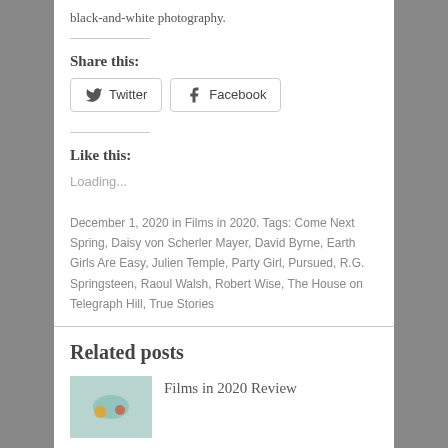black-and-white photography.
Share this:
Twitter  Facebook
Like this:
Loading...
December 1, 2020 in Films in 2020. Tags: Come Next Spring, Daisy von Scherler Mayer, David Byrne, Earth Girls Are Easy, Julien Temple, Party Girl, Pursued, R.G. Springsteen, Raoul Walsh, Robert Wise, The House on Telegraph Hill, True Stories
Related posts
Films in 2020 Review